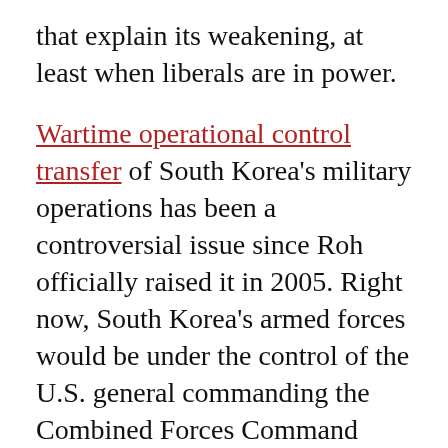that explain its weakening, at least when liberals are in power.
Wartime operational control transfer of South Korea's military operations has been a controversial issue since Roh officially raised it in 2005. Right now, South Korea's armed forces would be under the control of the U.S. general commanding the Combined Forces Command were war to break out in the Korean Peninsula. South Korean liberals dislike this arrangement. From their perspective, it means that their country is not fully sovereign. Presidents Lee and Park